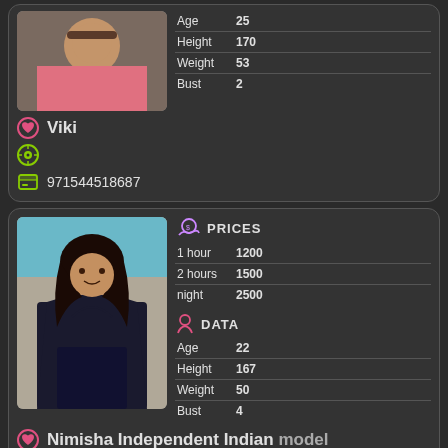[Figure (photo): Photo of person in top card (partial view, cropped at top)]
| Attribute | Value |
| --- | --- |
| Age | 25 |
| Height | 170 |
| Weight | 53 |
| Bust | 2 |
Viki
971544518687
[Figure (photo): Photo of woman with dark hair in black outfit]
PRICES
| Duration | Price |
| --- | --- |
| 1 hour | 1200 |
| 2 hours | 1500 |
| night | 2500 |
DATA
| Attribute | Value |
| --- | --- |
| Age | 22 |
| Height | 167 |
| Weight | 50 |
| Bust | 4 |
Nimisha Independent Indian model
971564391932